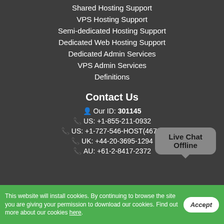Shared Hosting Support
VPS Hosting Support
Semi-dedicated Hosting Support
Dedicated Web Hosting Support
Dedicated Admin Services
VPS Admin Services
Definitions
Contact Us
Our ID: 301145
US: +1-855-211-0932
US: +1-727-546-HOST(4678)
UK: +44-20-3695-1294
AU: +61-2-8417-2372
Live Chat Offline
This website will install cookies. By continuing to browse the site you are giving your permission to download our cookies. Find out more about our cookies here.